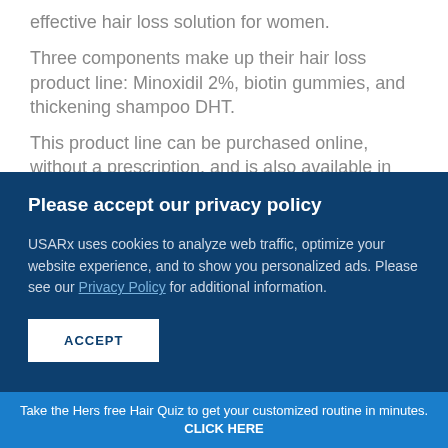effective hair loss solution for women.
Three components make up their hair loss product line: Minoxidil 2%, biotin gummies, and thickening shampoo DHT.
This product line can be purchased online, without a prescription, and is also available in certain
Please accept our privacy policy
USARx uses cookies to analyze web traffic, optimize your website experience, and to show you personalized ads. Please see our Privacy Policy for additional information.
ACCEPT
Take the Hers free Hair Quiz to get your customized routine in minutes. CLICK HERE